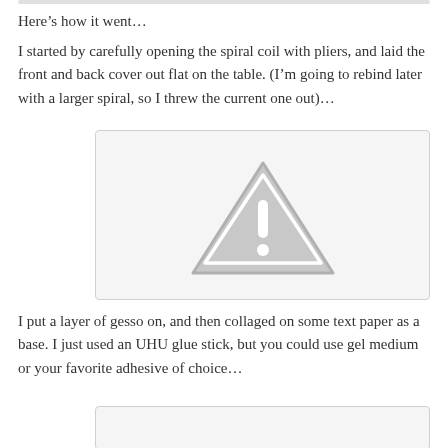Here’s how it went…
I started by carefully opening the spiral coil with pliers, and laid the front and back cover out flat on the table. (I’m going to rebind later with a larger spiral, so I threw the current one out)…
[Figure (photo): Placeholder image with warning icon (triangle with exclamation mark) on gray background]
I put a layer of gesso on, and then collaged on some text paper as a base. I just used an UHU glue stick, but you could use gel medium or your favorite adhesive of choice…
[Figure (photo): Partially visible image placeholder at bottom of page]